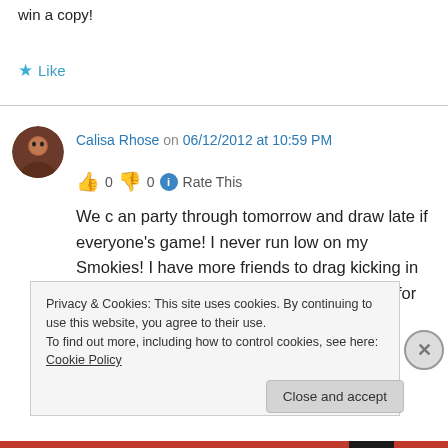win a copy!
★ Like
Calisa Rhose on 06/12/2012 at 10:59 PM
👍 0 👎 0 ℹ Rate This
We c an party through tomorrow and draw late if everyone's game! I never run low on my Smokies! I have more friends to drag kicking in and some who should be here any moment for
Privacy & Cookies: This site uses cookies. By continuing to use this website, you agree to their use.
To find out more, including how to control cookies, see here: Cookie Policy
Close and accept